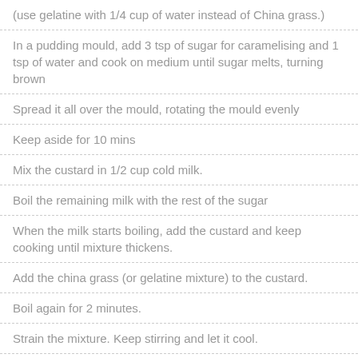(use gelatine with 1/4 cup of water instead of China grass.)
In a pudding mould, add 3 tsp of sugar for caramelising and 1 tsp of water and cook on medium until sugar melts, turning brown
Spread it all over the mould, rotating the mould evenly
Keep aside for 10 mins
Mix the custard in 1/2 cup cold milk.
Boil the remaining milk with the rest of the sugar
When the milk starts boiling, add the custard and keep cooking until mixture thickens.
Add the china grass (or gelatine mixture) to the custard.
Boil again for 2 minutes.
Strain the mixture. Keep stirring and let it cool.